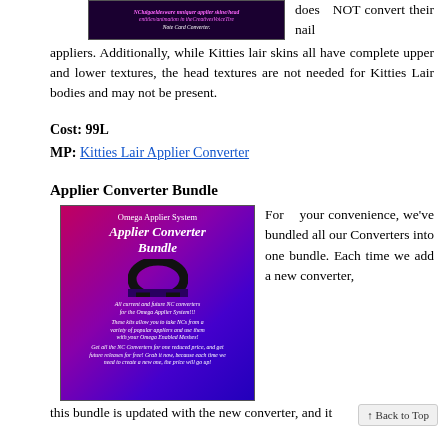[Figure (screenshot): Dark purple/black background image with pink/magenta italic text showing product name and 'Note Card Converter']
does NOT convert their nail appliers. Additionally, while Kitties lair skins all have complete upper and lower textures, the head textures are not needed for Kitties Lair bodies and may not be present.
Cost: 99L
MP: Kitties Lair Applier Converter
Applier Converter Bundle
[Figure (illustration): Omega Applier System Applier Converter Bundle promotional image with purple/magenta/dark blue gradient background and Omega logo]
For your convenience, we've bundled all our Converters into one bundle. Each time we add a new converter,
this bundle is updated with the new converter, and it